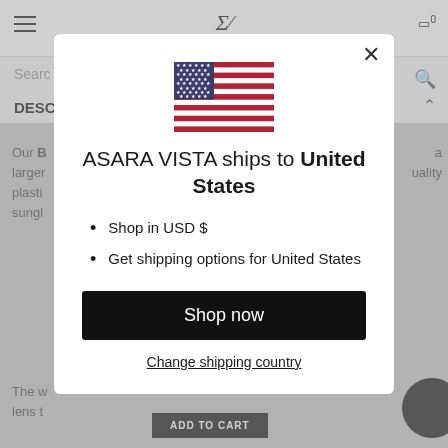[Figure (screenshot): E-commerce website screenshot showing a modal popup for ASARA VISTA shipping destination selector. The modal displays a US flag, text 'ASARA VISTA ships to United States', bullet points for 'Shop in USD $' and 'Get shipping options for United States', a black 'Shop now' button, and a 'Change shipping country' link. The background shows a partially visible product page with search bar, hamburger menu, and description section.]
ASARA VISTA ships to United States
Shop in USD $
Get shipping options for United States
Shop now
Change shipping country